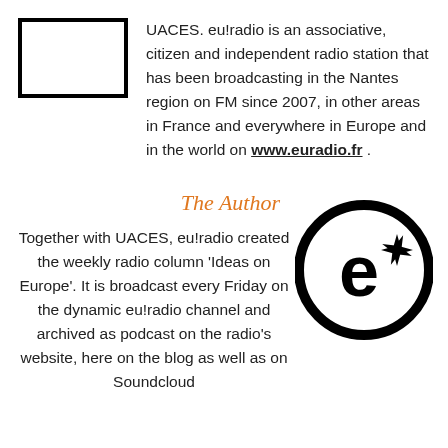[Figure (logo): White rectangular box with thick black border (UACES logo placeholder)]
UACES. eu!radio is an associative, citizen and independent radio station that has been broadcasting in the Nantes region on FM since 2007, in other areas in France and everywhere in Europe and in the world on www.euradio.fr .
The Author
Together with UACES, eu!radio created the weekly radio column 'Ideas on Europe'. It is broadcast every Friday on the dynamic eu!radio channel and archived as podcast on the radio's website, here on the blog as well as on Soundcloud
[Figure (logo): eu!radio circular logo: thick black circle outline with lowercase 'e' and an asterisk/star symbol inside]